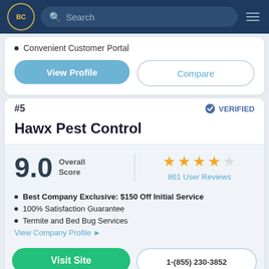BC Search
Convenient Customer Portal
View Profile | Compare
#5   VERIFIED
Hawx Pest Control
9.0 Overall Score
861 User Reviews
Best Company Exclusive: $150 Off Initial Service
100% Satisfaction Guarantee
Termite and Bed Bug Services
View Company Profile ▶
Visit Site | 1-(855) 230-3852